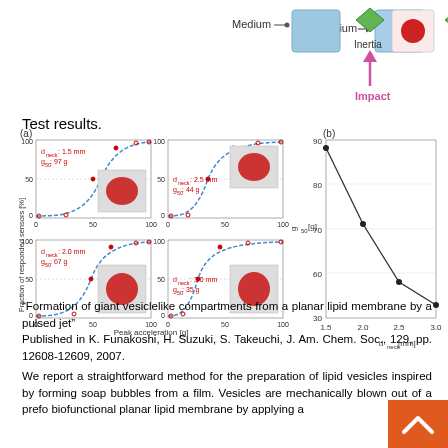[Figure (schematic): Top portion of diagram showing Medium label with arrow pointing to blue square, Inertia label with green diamond icon, and red circle. Pink upward arrow labeled Impact below center icons.]
Test results.
[Figure (continuous-plot): Panel (a): Four subplots showing Fraction of responded sensors [%] vs Peak acceleration [g] for different d_neck values (1.5mm g50:97g, 2.0mm g50:67g, 2.5mm g50:44g, 3.0mm g50:35g) with sigmoid curves and inset photos. Panel (b): Scatter plot of g50 [g] vs d_neck [mm] showing decreasing trend from ~97g at 1.5mm to ~35g at 3.0mm.]
“Formation of giant vesiclelike compartments from a planar lipid membrane by a pulsed jet”
Published in K. Funakoshi, H. Suzuki, S. Takeuchi, J. Am. Chem. Soc., 129, pp. 12608-12609, 2007.
We report a straightforward method for the preparation of lipid vesicles inspired by forming soap bubbles from a film. Vesicles are mechanically blown out of a prefo biofunctional planar lipid membrane by applying a